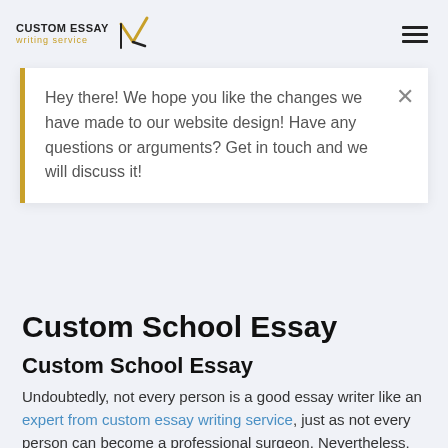CUSTOM ESSAY writing service
Hey there! We hope you like the changes we have made to our website design! Have any questions or arguments? Get in touch and we will discuss it!
Custom School Essay
Custom School Essay
Undoubtedly, not every person is a good essay writer like an expert from custom essay writing service, just as not every person can become a professional surgeon. Nevertheless, teachers expect to receive well-written essays from their students. As a high school student, you definitely have a busy life. Lack of time, though